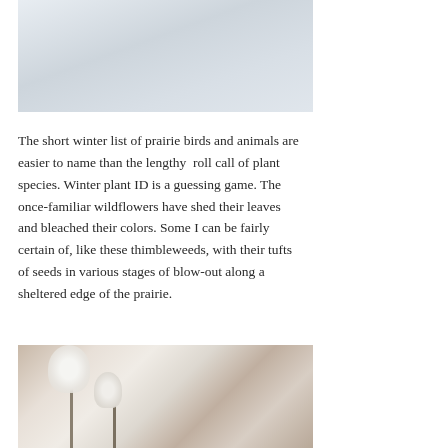[Figure (photo): Top portion of a photo showing a snowy or wintry outdoor scene with pale grey-blue tones, likely a prairie landscape in winter.]
The short winter list of prairie birds and animals are easier to name than the lengthy roll call of plant species. Winter plant ID is a guessing game. The once-familiar wildflowers have shed their leaves and bleached their colors. Some I can be fairly certain of, like these thimbleweeds, with their tufts of seeds in various stages of blow-out along a sheltered edge of the prairie.
[Figure (photo): Close-up photo of thimbleweed plants with fluffy white seed tufts in various stages of dispersal, set against a soft blurred brown and pink background.]